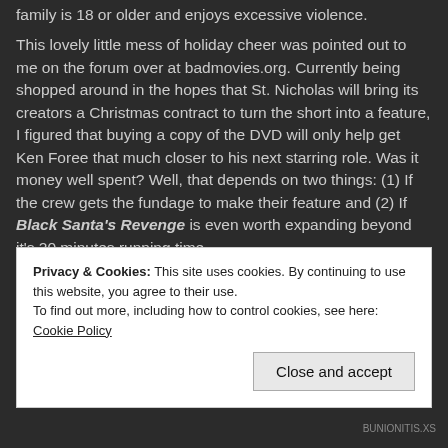family is 18 or older and enjoys excessive violence.
This lovely little mess of holiday cheer was pointed out to me on the forum over at badmovies.org. Currently being shopped around in the hopes that St. Nicholas will bring its creators a Christmas contract to turn the short into a feature, I figured that buying a copy of the DVD will only help get Ken Foree that much closer to his next starring role. Was it money well spent? Well, that depends on two things: (1) If the crew gets the fundage to make their feature and (2) If Black Santa's Revenge is even worth expanding beyond it's 20 minutes running time.
Privacy & Cookies: This site uses cookies. By continuing to use this website, you agree to their use. To find out more, including how to control cookies, see here: Cookie Policy
Close and accept